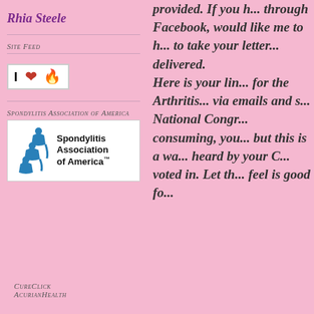Rhia Steele
Site Feed
[Figure (logo): I love Blogger badge with heart and flame icons]
Spondylitis Association of America
[Figure (logo): Spondylitis Association of America logo with blue figures and text]
CureClick AcurianHealth
provided. If you h... through Facebook... would like me to h... to take your letter... delivered.

Here is your lin... for the Arthritis... via emails and s... National Congr... consuming, you... but this is a wa... heard by your C... voted in. Let th... feel is good fo...